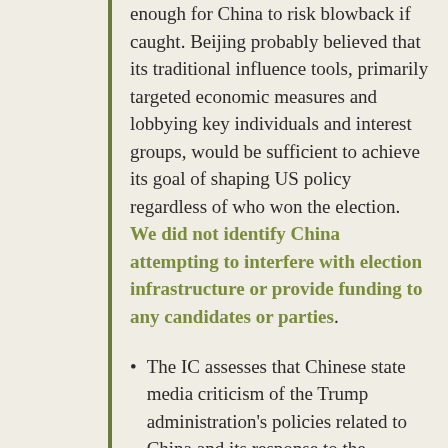enough for China to risk blowback if caught. Beijing probably believed that its traditional influence tools, primarily targeted economic measures and lobbying key individuals and interest groups, would be sufficient to achieve its goal of shaping US policy regardless of who won the election. We did not identify China attempting to interfere with election infrastructure or provide funding to any candidates or parties.
The IC assesses that Chinese state media criticism of the Trump administration's policies related to China and its response to the COVID-19 pandemic, and other...